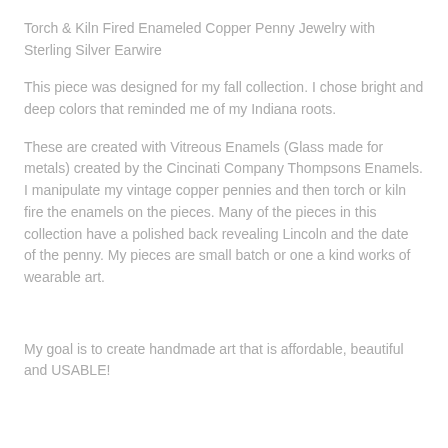Torch & Kiln Fired Enameled Copper Penny Jewelry with Sterling Silver Earwire
This piece was designed for my fall collection. I chose bright and deep colors that reminded me of my Indiana roots.
These are created with Vitreous Enamels (Glass made for metals) created by the Cincinati Company Thompsons Enamels. I manipulate my vintage copper pennies and then torch or kiln fire the enamels on the pieces. Many of the pieces in this collection have a polished back revealing Lincoln and the date of the penny. My pieces are small batch or one a kind works of wearable art.
My goal is to create handmade art that is affordable, beautiful and USABLE!...